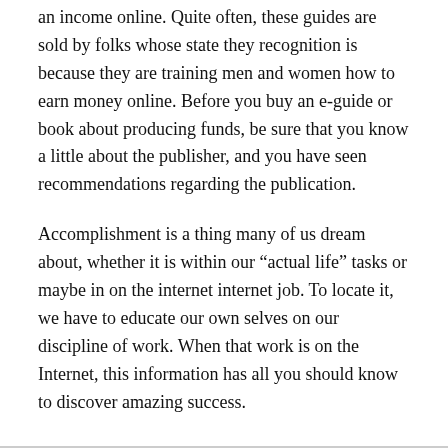an income online. Quite often, these guides are sold by folks whose state they recognition is because they are training men and women how to earn money online. Before you buy an e-guide or book about producing funds, be sure that you know a little about the publisher, and you have seen recommendations regarding the publication.
Accomplishment is a thing many of us dream about, whether it is within our “actual life” tasks or maybe in on the internet internet job. To locate it, we have to educate our own selves on our discipline of work. When that work is on the Internet, this information has all you should know to discover amazing success.